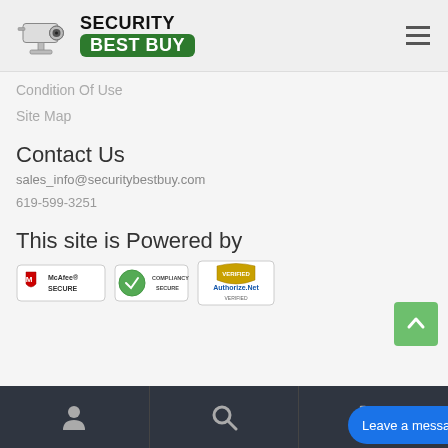[Figure (logo): Security Best Buy logo with security camera graphic and green BEST BUY badge]
Condition Of Use
Site Map
Contact Us
sales_info@securitybestbuy.com
619-599-3251
This site is Powered by
[Figure (logo): McAfee Secure badge]
[Figure (logo): Compliancy Secure badge]
[Figure (logo): Authorize.Net Verified badge]
Bottom navigation bar with user, search, and cart icons. Live chat button: Leave a message